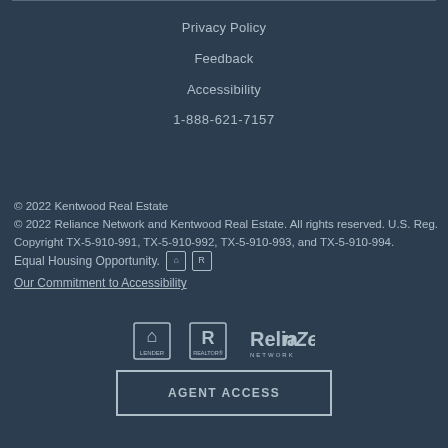Privacy Policy
Feedback
Accessibility
1-888-621-7157
© 2022 Kentwood Real Estate
© 2022 Reliance Network and Kentwood Real Estate. All rights reserved. U.S. Reg. Copyright TX-5-910-991, TX-5-910-992, TX-5-910-993, and TX-5-910-994.
Equal Housing Opportunity. [EHO icons]
Our Commitment to Accessibility
[Figure (logo): Equal Housing Opportunity logo, Realtor logo, Reliance Network logo]
AGENT ACCESS